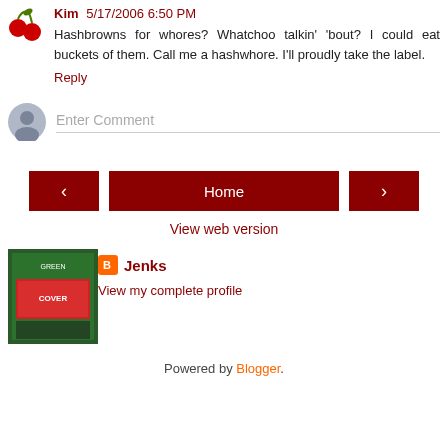Kim 5/17/2006 6:50 PM
Hashbrowns for whores? Whatchoo talkin' 'bout? I could eat buckets of them. Call me a hashwhore. I'll proudly take the label.
Reply
Enter Comment
[Figure (infographic): Navigation bar with left arrow, Home button, and right arrow, all in dark red/maroon color]
View web version
[Figure (photo): Profile photo thumbnail showing a green and red book/magazine cover]
Jenks
View my complete profile
Powered by Blogger.